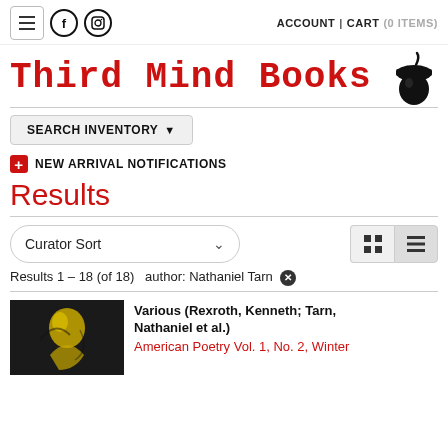ACCOUNT | CART (0 ITEMS)
Third Mind Books
SEARCH INVENTORY
NEW ARRIVAL NOTIFICATIONS
Results
Curator Sort
Results 1 – 18 (of 18)  author: Nathaniel Tarn ✕
Various (Rexroth, Kenneth; Tarn, Nathaniel et al.)
American Poetry Vol. 1, No. 2, Winter